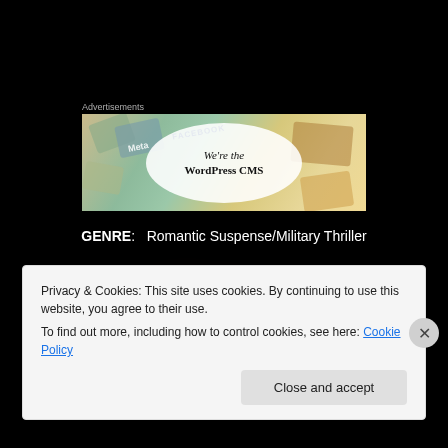Advertisements
[Figure (illustration): Advertisement banner for WordPress CMS showing colorful overlapping cards/tiles with Meta and Facebook branding, with a white oval containing text 'We're the WordPress CMS']
GENRE:   Romantic Suspense/Military Thriller
[Figure (illustration): Neon cursive/script text reading 'The' in red neon glow effect on black background]
Privacy & Cookies: This site uses cookies. By continuing to use this website, you agree to their use.
To find out more, including how to control cookies, see here: Cookie Policy
Close and accept